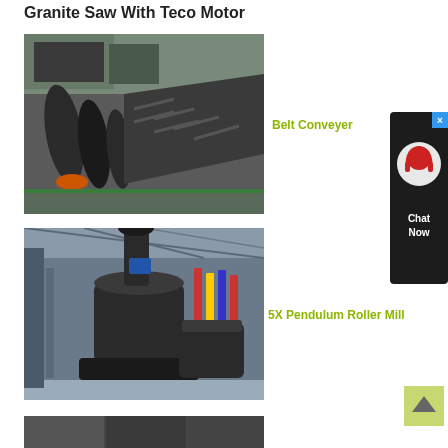Granite Saw With Teco Motor
[Figure (photo): Industrial belt conveyor system showing large conveyor belts with chevron pattern in a factory/outdoor setting, with trucks visible in background]
Belt Conveyer
[Figure (photo): Large industrial 5X Pendulum Roller Mill machine in a factory floor setting with high ceiling and structural steel visible]
5X Pendulum Roller Mill
[Figure (photo): Partial view of another industrial machine at the bottom of the page]